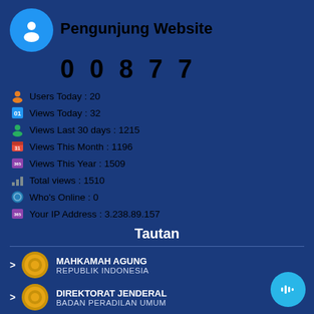Pengunjung Website
0 0 8 7 7
Users Today : 20
Views Today : 32
Views Last 30 days : 1215
Views This Month : 1196
Views This Year : 1509
Total views : 1510
Who's Online : 0
Your IP Address : 3.238.89.157
Tautan
MAHKAMAH AGUNG REPUBLIK INDONESIA
DIREKTORAT JENDERAL BADAN PERADILAN UMUM
BADAN LITBANG DIKLAT HUKUM DAN PERADILAN